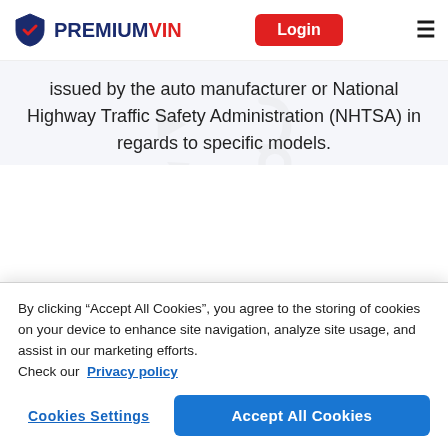PREMIUMVIN | Login
issued by the auto manufacturer or National Highway Traffic Safety Administration (NHTSA) in regards to specific models.
VERIFY ROLLS-ROYCE RECALLS
By clicking “Accept All Cookies”, you agree to the storing of cookies on your device to enhance site navigation, analyze site usage, and assist in our marketing efforts.
Check our  Privacy policy
Cookies Settings | Accept All Cookies